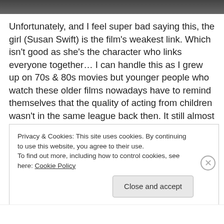[Figure (photo): Dark photo strip at the top of the page showing a partial image]
Unfortunately, and I feel super bad saying this, the girl (Susan Swift) is the film's weakest link. Which isn't good as she's the character who links everyone together… I can handle this as I grew up on 70s & 80s movies but younger people who watch these older films nowadays have to remind themselves that the quality of acting from children wasn't in the same league back then. It still almost freaks me out how amazing Jacob Tremblay was in Room! Or Sennia Nanua in The Girl With All The Gifts (a fantastic
Privacy & Cookies: This site uses cookies. By continuing to use this website, you agree to their use.
To find out more, including how to control cookies, see here: Cookie Policy